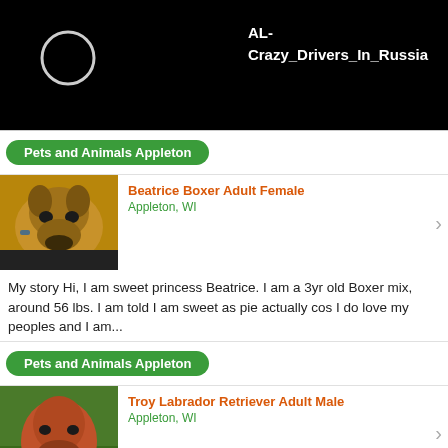[Figure (screenshot): Black header area with a circular loading/profile icon outline on the left and text 'AL-Crazy_Drivers_In_Russia' on the right in white bold font]
Pets and Animals Appleton
Beatrice Boxer Adult Female
Appleton, WI
[Figure (photo): Close-up photo of a Boxer dog, brown/tan colored, looking out a window]
My story Hi, I am sweet princess Beatrice. I am a 3yr old Boxer mix, around 56 lbs. I am told I am sweet as pie actually cos I do love my peoples and I am...
Pets and Animals Appleton
Troy Labrador Retriever Adult Male
Appleton, WI
[Figure (photo): Photo of a brown/red Labrador Retriever dog standing outdoors on grass]
My story Hi I'm Troy, I'm a 2 year old Lab mix, around 55 lbs. Quickly